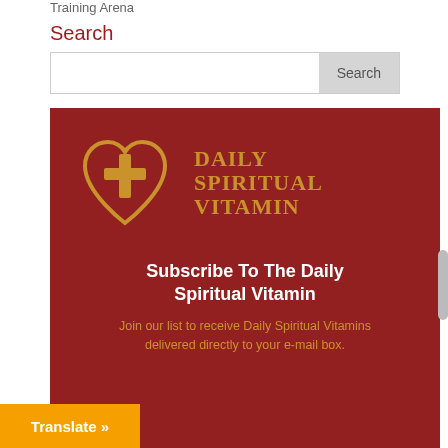Training Arena
Search
[Figure (screenshot): Search input box with a Search button on the right]
[Figure (logo): Daily Spiritual Vitamin logo — a gold heart with a cross inside, next to the text DAILY SPIRITUAL VITAMIN in gold, on a dark red background. Below the logo: Subscribe To The Daily Spiritual Vitamin in bold white. Body text in gold: Join our list to receive Daily Spiritual Vitamins delivered directly to your e-mail box.]
Subscribe To The Daily Spiritual Vitamin
Join our list to receive Daily Spiritual Vitamins delivered directly to your e-mail box.
Translate »